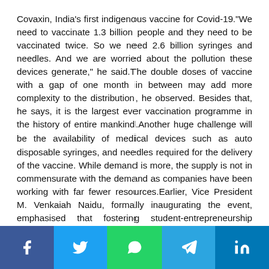Covaxin, India's first indigenous vaccine for Covid-19."We need to vaccinate 1.3 billion people and they need to be vaccinated twice. So we need 2.6 billion syringes and needles. And we are worried about the pollution these devices generate," he said.The double doses of vaccine with a gap of one month in between may add more complexity to the distribution, he observed. Besides that, he says, it is the largest ever vaccination programme in the history of entire mankind.Another huge challenge will be the availability of medical devices such as auto disposable syringes, and needles required for the delivery of the vaccine. While demand is more, the supply is not in commensurate with the demand as companies have been working with far fewer resources.Earlier, Vice President M. Venkaiah Naidu, formally inaugurating the event, emphasised that fostering student-entrepreneurship through innovation programmes is extremely critical and universities need to establish close linkage with industries to mentor and handhold students with novel business ideas.The TiE is a Silicon Valley-based non-profit organisation supporting start-ups through networking and its Summit-2020 will be showcasing opportunities to get mega investments into India.Union
[Figure (other): Social media sharing bar with Facebook, Twitter, WhatsApp, Telegram, and LinkedIn buttons]